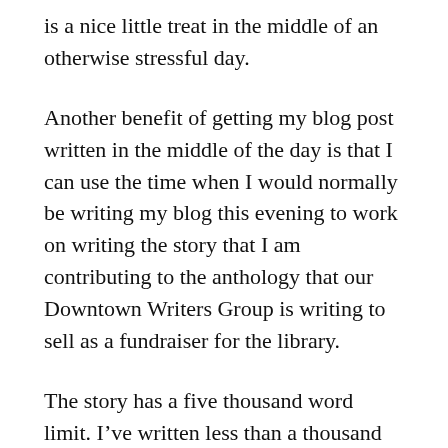is a nice little treat in the middle of an otherwise stressful day.
Another benefit of getting my blog post written in the middle of the day is that I can use the time when I would normally be writing my blog this evening to work on writing the story that I am contributing to the anthology that our Downtown Writers Group is writing to sell as a fundraiser for the library.
The story has a five thousand word limit. I’ve written less than a thousand words so far and I’m afraid I’m going to have to edit ruthlessly to get it to fit within the prescribed word count. This will be the first time (that I recall anyway)